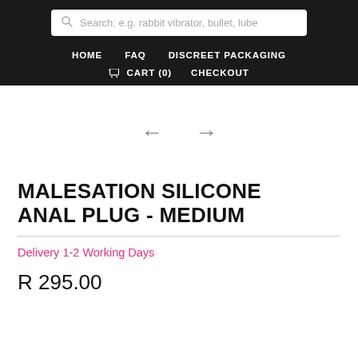Search: e.g. rabbit vibrator, bullet, lube
HOME  FAQ  DISCREET PACKAGING  CART (0)  CHECKOUT
[Figure (other): Navigation arrows (left and right) for image carousel]
MALESATION SILICONE ANAL PLUG - MEDIUM
Delivery 1-2 Working Days
R 295.00